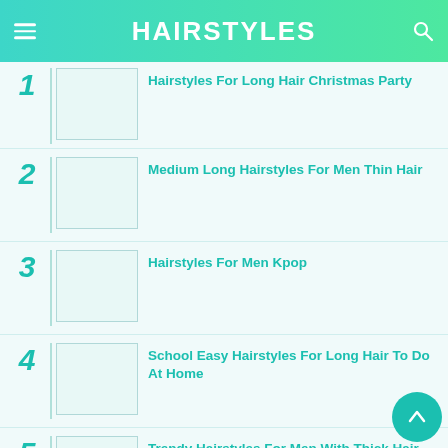HAIRSTYLES
Hairstyles For Long Hair Christmas Party
Medium Long Hairstyles For Men Thin Hair
Hairstyles For Men Kpop
School Easy Hairstyles For Long Hair To Do At Home
Trendy Hairstyles For Men With Thick Hair Medium Length